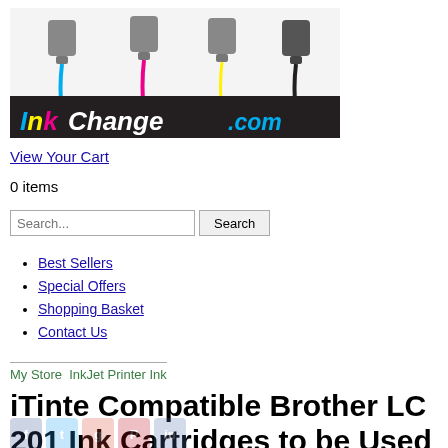[Figure (logo): InkChange.com logo with CMYK ink cartridges dripping colored ink in cyan, magenta, yellow, and black pools, with 'InkChange.com' text stylized below]
View Your Cart
0 items
Best Sellers
Special Offers
Shopping Basket
Contact Us
My Store  InkJet Printer Ink
iTinte Compatible Brother LC 201 Ink Cartridges to be Used